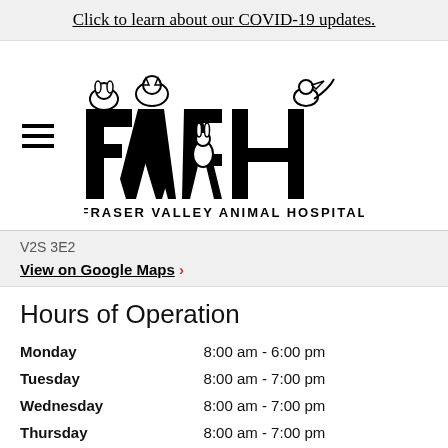Click to learn about our COVID-19 updates.
[Figure (logo): Fraser Valley Animal Hospital (FVAH) logo with cartoon animals sitting on block letters, text reads FRASER VALLEY ANIMAL HOSPITAL]
V2S 3E2
View on Google Maps ›
Hours of Operation
| Day | Hours |
| --- | --- |
| Monday | 8:00 am - 6:00 pm |
| Tuesday | 8:00 am - 7:00 pm |
| Wednesday | 8:00 am - 7:00 pm |
| Thursday | 8:00 am - 7:00 pm |